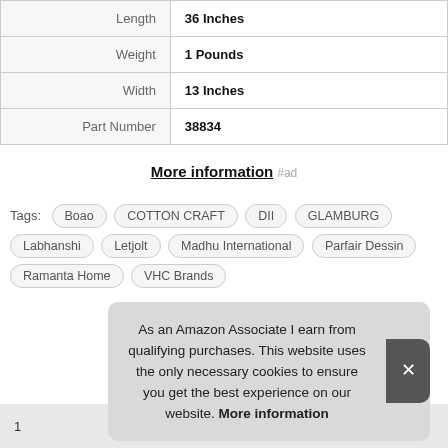| Attribute | Value |
| --- | --- |
| Length | 36 Inches |
| Weight | 1 Pounds |
| Width | 13 Inches |
| Part Number | 38834 |
More information #ad
Tags: Boao  COTTON CRAFT  DII  GLAMBURG  Labhanshi  Letjolt  Madhu International  Parfair Dessin  Ramanta Home  VHC Brands
As an Amazon Associate I earn from qualifying purchases. This website uses the only necessary cookies to ensure you get the best experience on our website. More information